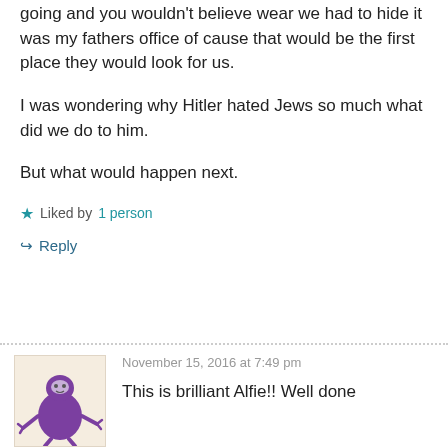going and you wouldn't believe wear we had to hide it was my fathers office of cause that would be the first place they would look for us.
I was wondering why Hitler hated Jews so much what did we do to him.
But what would happen next.
Liked by 1 person
Reply
November 15, 2016 at 7:49 pm
This is brilliant Alfie!! Well done